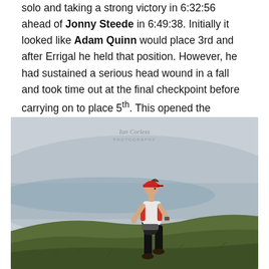solo and taking a strong victory in 6:32:56 ahead of Jonny Steede in 6:49:38. Initially it looked like Adam Quinn would place 3rd and after Errigal he held that position. However, he had sustained a serious head wound in a fall and took time out at the final checkpoint before carrying on to place 5th. This opened the doorway for Lonan O'Farrell who rounded the podium in 7:12:04.
[Figure (photo): A trail runner wearing a red cap, white vest top, red running pack, black shorts and black compression socks, running uphill on a grassy hillside in overcast conditions. A photographer watermark reading 'Ian Corless Photography' is visible at the top of the image.]